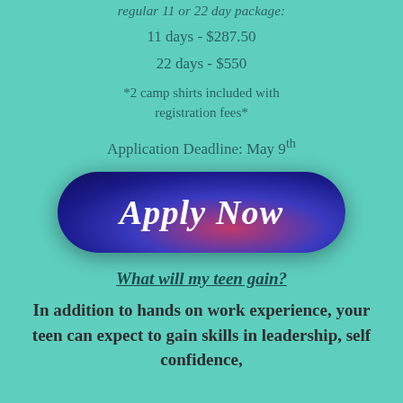regular 11 or 22 day package:
11 days - $287.50
22 days - $550
*2 camp shirts included with registration fees*
Application Deadline: May 9th
[Figure (other): A dark blue and purple gradient rounded button with the text 'Apply Now' in white italic bold serif font]
What will my teen gain?
In addition to hands on work experience, your teen can expect to gain skills in leadership, self confidence,